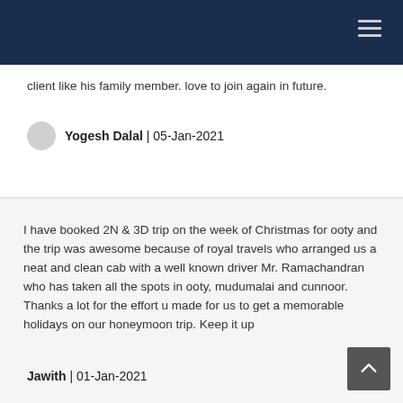client like his family member. love to join again in future.
Yogesh Dalal | 05-Jan-2021
I have booked 2N & 3D trip on the week of Christmas for ooty and the trip was awesome because of royal travels who arranged us a neat and clean cab with a well known driver Mr. Ramachandran who has taken all the spots in ooty, mudumalai and cunnoor. Thanks a lot for the effort u made for us to get a memorable holidays on our honeymoon trip. Keep it up
Jawith | 01-Jan-2021